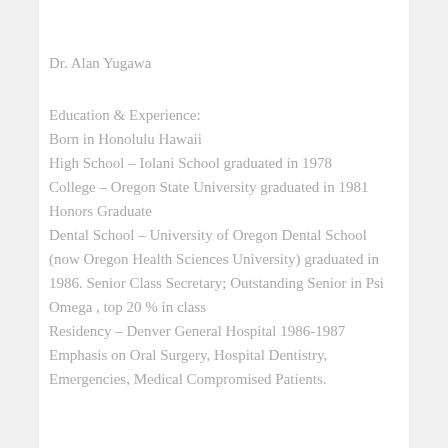Dr. Alan Yugawa
Education & Experience:
Born in Honolulu Hawaii
High School – Iolani School graduated in 1978
College – Oregon State University graduated in 1981 Honors Graduate
Dental School – University of Oregon Dental School (now Oregon Health Sciences University) graduated in 1986. Senior Class Secretary; Outstanding Senior in Psi Omega , top 20 % in class
Residency – Denver General Hospital 1986-1987
Emphasis on Oral Surgery, Hospital Dentistry, Emergencies, Medical Compromised Patients.